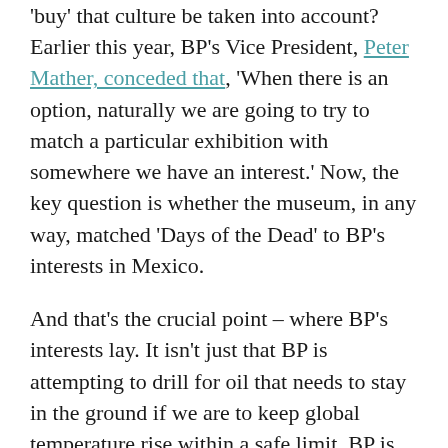'buy' that culture be taken into account? Earlier this year, BP's Vice President, Peter Mather, conceded that, 'When there is an option, naturally we are going to try to match a particular exhibition with somewhere we have an interest.' Now, the key question is whether the museum, in any way, matched 'Days of the Dead' to BP's interests in Mexico.
And that's the crucial point – where BP's interests lay. It isn't just that BP is attempting to drill for oil that needs to stay in the ground if we are to keep global temperature rise within a safe limit. BP is pursuing those new fossil fuels in direct collaboration with a government tied to human rights violations. And...